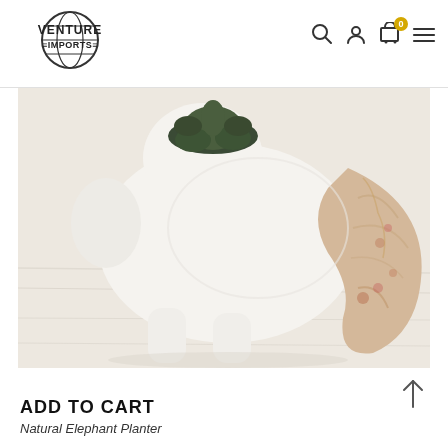[Figure (logo): Venture Imports logo: globe icon with text VENTURE IMPORTS]
[Figure (photo): Close-up photo of a white ceramic elephant-shaped planter with a succulent plant inside, the elephant's trunk is made of natural stone/wood with pinkish-beige marbled texture, sitting on a light wood surface]
ADD TO CART
Natural Elephant Planter